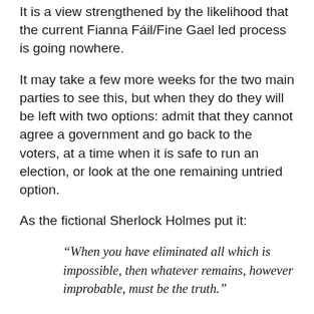It is a view strengthened by the likelihood that the current Fianna Fáil/Fine Gael led process is going nowhere.
It may take a few more weeks for the two main parties to see this, but when they do they will be left with two options: admit that they cannot agree a government and go back to the voters, at a time when it is safe to run an election, or look at the one remaining untried option.
As the fictional Sherlock Holmes put it:
“When you have eliminated all which is impossible, then whatever remains, however improbable, must be the truth.”
It is basic logic.
I do understand that national/unity government is a bit of a clunky description and that one person’s idea